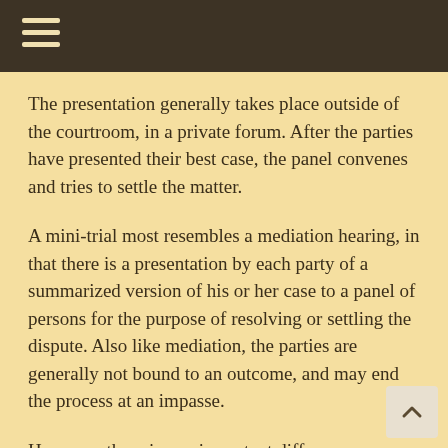≡
The presentation generally takes place outside of the courtroom, in a private forum. After the parties have presented their best case, the panel convenes and tries to settle the matter.
A mini-trial most resembles a mediation hearing, in that there is a presentation by each party of a summarized version of his or her case to a panel of persons for the purpose of resolving or settling the dispute. Also like mediation, the parties are generally not bound to an outcome, and may end the process at an impasse.
However, there is one important difference between a mediation and a mini-trial. In